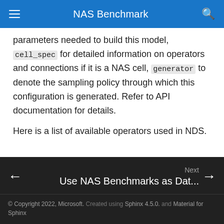NAS Benchmark
parameters needed to build this model, cell_spec for detailed information on operators and connections if it is a NAS cell, generator to denote the sampling policy through which this configuration is generated. Refer to API documentation for details.
Here is a list of available operators used in NDS.
See example usages and API references.
Next
Use NAS Benchmarks as Dat...
© Copyright 2022, Microsoft. Created using Sphinx 4.5.0. and Material for Sphinx